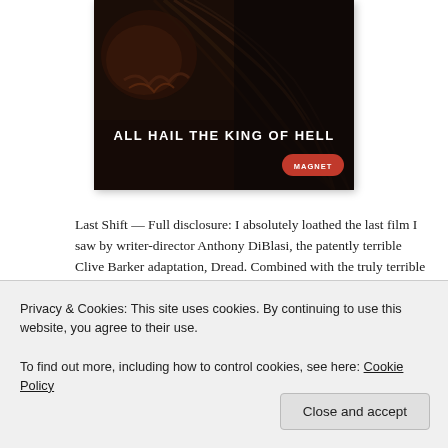[Figure (photo): Dark horror movie poster with creature/monster face and long hair, text 'ALL HAIL THE KING OF HELL' in white bold capital letters, Magnet logo in bottom right corner]
Last Shift — Full disclosure: I absolutely loathed the last film I saw by writer-director Anthony DiBlasi, the patently terrible Clive Barker adaptation, Dread. Combined with the truly terrible cover art for his
Privacy & Cookies: This site uses cookies. By continuing to use this website, you agree to their use.
To find out more, including how to control cookies, see here: Cookie Policy
Close and accept
stereotypical and clichéd finale, everything about this